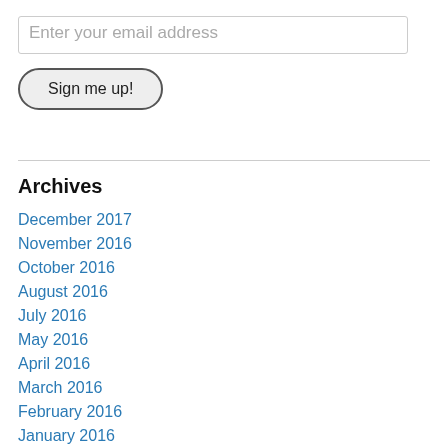Enter your email address
Sign me up!
Archives
December 2017
November 2016
October 2016
August 2016
July 2016
May 2016
April 2016
March 2016
February 2016
January 2016
December 2015
November 2015